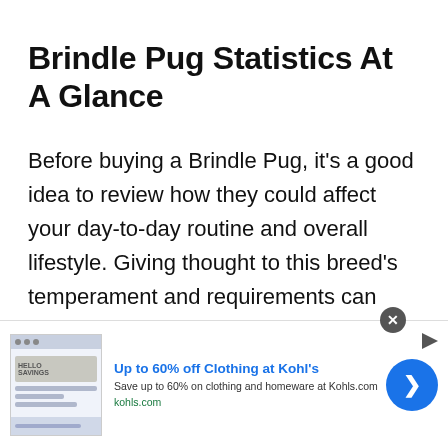Brindle Pug Statistics At A Glance
Before buying a Brindle Pug, it's a good idea to review how they could affect your day-to-day routine and overall lifestyle. Giving thought to this breed's temperament and requirements can help with the decision of whether or not
[Figure (other): Advertisement banner for Kohl's: 'Up to 60% off Clothing at Kohl's'. Save up to 60% on clothing and homeware at Kohls.com. Shows kohls.com URL in green, a thumbnail image of savings content, and a blue circular CTA arrow button.]